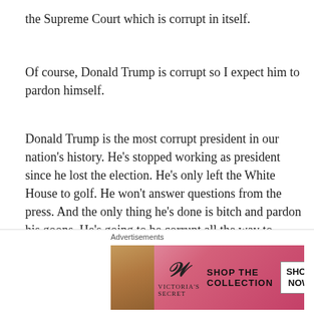the Supreme Court which is corrupt in itself.
Of course, Donald Trump is corrupt so I expect him to pardon himself.
Donald Trump is the most corrupt president in our nation’s history. He’s stopped working as president since he lost the election. He’s only left the White House to golf. He won’t answer questions from the press. And the only thing he’s done is bitch and pardon his goons. He’s going to be corrupt all the way to January 20.
What I really hope for is that Donald Trump eventually lands in prison. And when that happens, I hope the irony
Advertisements
[Figure (photo): Victoria's Secret advertisement with woman model, pink background, VS logo, SHOP THE COLLECTION text, and SHOP NOW button]